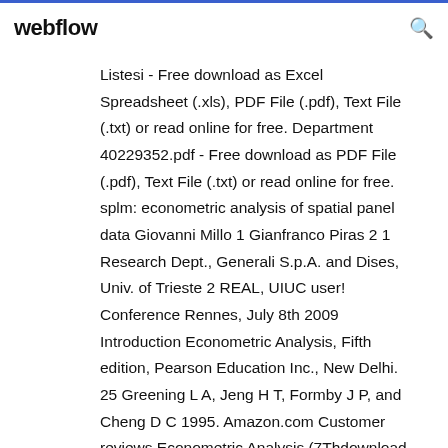webflow
Listesi - Free download as Excel Spreadsheet (.xls), PDF File (.pdf), Text File (.txt) or read online for free. Department 40229352.pdf - Free download as PDF File (.pdf), Text File (.txt) or read online for free. splm: econometric analysis of spatial panel data Giovanni Millo 1 Gianfranco Piras 2 1 Research Dept., Generali S.p.A. and Dises, Univ. of Trieste 2 REAL, UIUC user! Conference Rennes, July 8th 2009 Introduction Econometric Analysis, Fifth edition, Pearson Education Inc., New Delhi. 25 Greening L A, Jeng H T, Formby J P, and Cheng D C 1995. Amazon.com Customer reviews Econometric Analysis (7Thdownload Greene Econometric Analysis 7TH Edition Solution